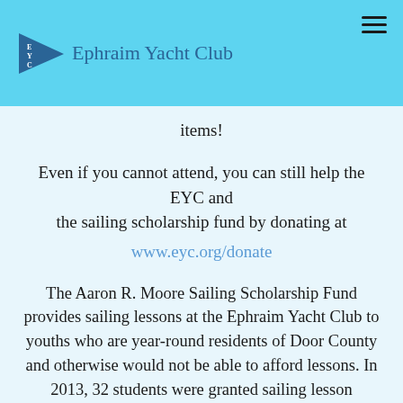Ephraim Yacht Club
items!
Even if you cannot attend, you can still help the EYC and the sailing scholarship fund by donating at www.eyc.org/donate
The Aaron R. Moore Sailing Scholarship Fund provides sailing lessons at the Ephraim Yacht Club to youths who are year-round residents of Door County and otherwise would not be able to afford lessons. In 2013, 32 students were granted sailing lesson scholarships by the EYC.
Questions? Contact dockside@eyc.org